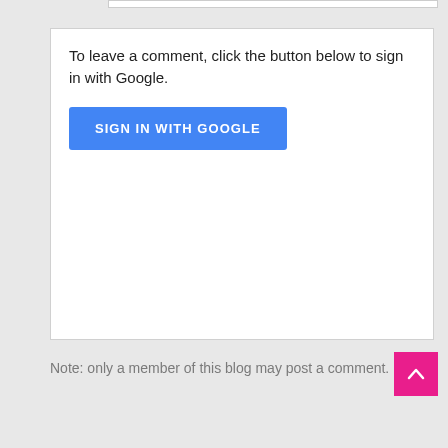To leave a comment, click the button below to sign in with Google.
[Figure (screenshot): Blue button labeled SIGN IN WITH GOOGLE]
Note: only a member of this blog may post a comment.